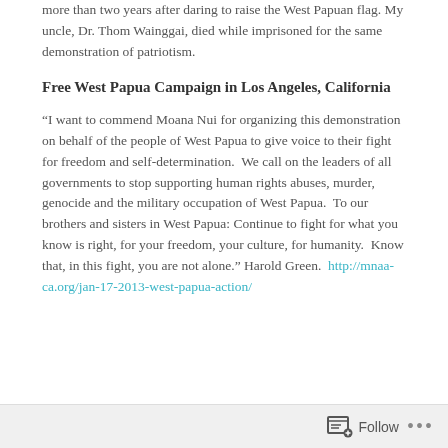more than two years after daring to raise the West Papuan flag. My uncle, Dr. Thom Wainggai, died while imprisoned for the same demonstration of patriotism.
Free West Papua Campaign in Los Angeles, California
“I want to commend Moana Nui for organizing this demonstration on behalf of the people of West Papua to give voice to their fight for freedom and self-determination.  We call on the leaders of all governments to stop supporting human rights abuses, murder, genocide and the military occupation of West Papua.  To our brothers and sisters in West Papua: Continue to fight for what you know is right, for your freedom, your culture, for humanity.  Know that, in this fight, you are not alone.” Harold Green.  http://mnaa-ca.org/jan-17-2013-west-papua-action/
Follow ...